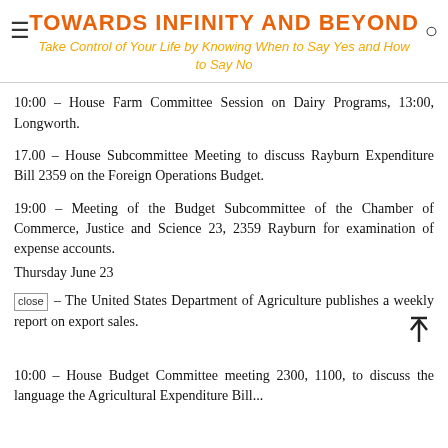TOWARDS INFINITY AND BEYOND
Take Control of Your Life by Knowing When to Say Yes and How to Say No
10:00 – House Farm Committee Session on Dairy Programs, 13:00, Longworth.
17.00 – House Subcommittee Meeting to discuss Rayburn Expenditure Bill 2359 on the Foreign Operations Budget.
19:00 – Meeting of the Budget Subcommittee of the Chamber of Commerce, Justice and Science 23, 2359 Rayburn for examination of expense accounts.
Thursday June 23
close | – The United States Department of Agriculture publishes a weekly report on export sales.
10:00 – House Budget Committee meeting 2300, 1100, to discuss the language the Agricultural Expenditure Bill...